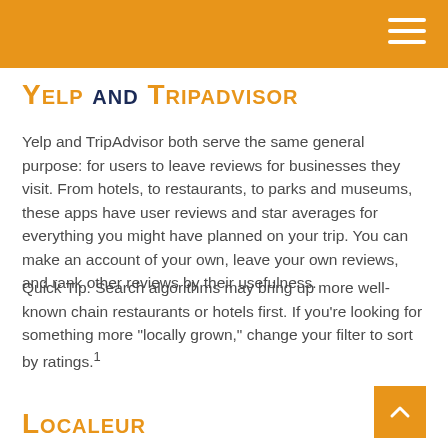Yelp and TripAdvisor
Yelp and TripAdvisor both serve the same general purpose: for users to leave reviews for businesses they visit. From hotels, to restaurants, to parks and museums, these apps have user reviews and star averages for everything you might have planned on your trip. You can make an account of your own, leave your own reviews, and rank other reviews by their usefulness.
Quick Tip: Search algorithms may bring up more well-known chain restaurants or hotels first. If you're looking for something more "locally grown," change your filter to sort by ratings.¹
Localeur